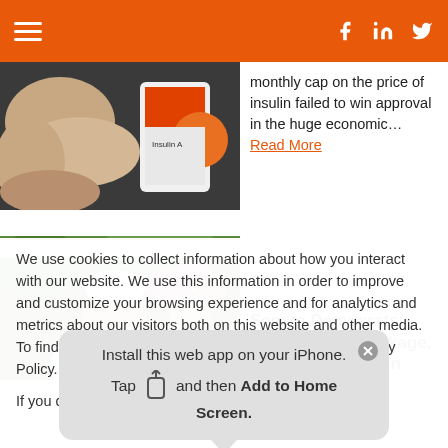Navigation header with hamburger menu and social icons (Facebook, LinkedIn, Twitter)
[Figure (photo): Close-up photo of hands holding an insulin vial with orange cap]
monthly cap on the price of insulin failed to win approval in the huge economic... Read More
[Figure (photo): Photo of President Biden smiling outdoors with flowers in background]
Senate Democrats Pass Budget Package, a Victory for Biden
We use cookies to collect information about how you interact with our website. We use this information in order to improve and customize your browsing experience and for analytics and metrics about our visitors both on this website and other media. To find out more about the cookies we use, see our Privacy Policy.

If you decline, your information won't be tracked
Install this web app on your iPhone. Tap and then Add to Home Screen.